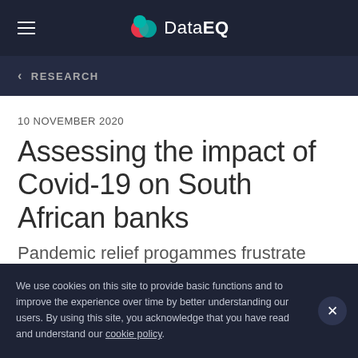DataEQ
< RESEARCH
10 NOVEMBER 2020
Assessing the impact of Covid-19 on South African banks
Pandemic relief progammes frustrate customers finds Banking Sentiment
We use cookies on this site to provide basic functions and to improve the experience over time by better understanding our users. By using this site, you acknowledge that you have read and understand our cookie policy.